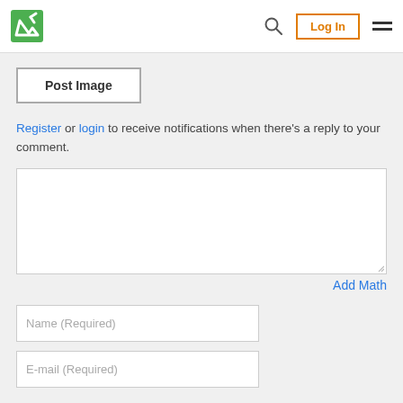Navigation bar with logo, search, Log In button, and hamburger menu
[Figure (screenshot): Post Image button — a bordered rectangle with bold text 'Post Image']
Register or login to receive notifications when there's a reply to your comment.
[Figure (screenshot): Comment textarea input box with resize handle]
Add Math
[Figure (screenshot): Name (Required) text input field]
[Figure (screenshot): E-mail (Required) text input field]